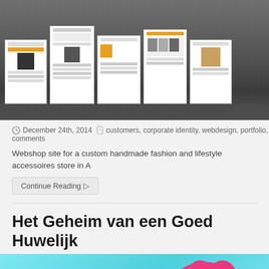[Figure (screenshot): Row of website screenshots displayed on dark reflective surface]
December 24th, 2014   customers, corporate identity, webdesign, portfolio, comments
Webshop site for a custom handmade fashion and lifestyle accessoires store in A
Continue Reading ▷
Het Geheim van een Goed Huwelijk
[Figure (photo): Pink heart-shaped padlock with silver key on light blue background]